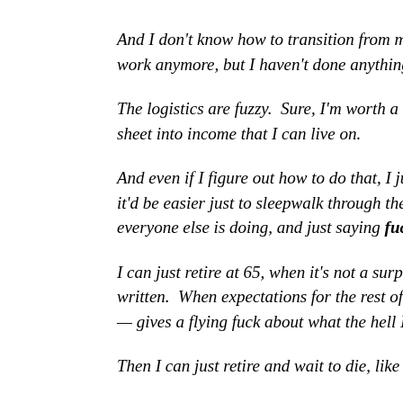And I don't know how to transition from my current life to the one I want. I don't want to work anymore, but I haven't done anything to create the next chapter.
The logistics are fuzzy. Sure, I'm worth a lot, but I don't know how to convert a balance sheet into income that I can live on.
And even if I figure out how to do that, I just don't know what I'm going to do with myself. it'd be easier just to sleepwalk through the next twenty or thirty years doing what everyone else is doing, and just saying fuck it to this whole thing.
I can just retire at 65, when it's not a surprise for anyone. When the script has been written. When expectations for the rest of my existence are already set. When no one — gives a flying fuck about what the hell I'm doing.
Then I can just retire and wait to die, like normal people do.
Looking back, it seems as though I was possessed by a stranger. That thinking was so unlike me. I mean, I wouldn't say I'm an optimist, exactly, but r